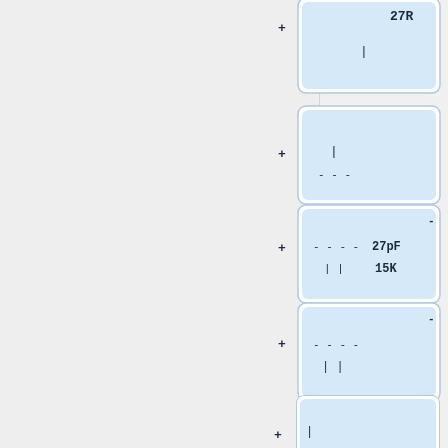[Figure (schematic): Electronic circuit schematic showing multiple component blocks on the right side of the page. Each block has a plus (+) terminal on the left, an inner blue-shaded region containing component symbols and labels. Components visible include 27R resistor, unlabeled components, 27pF capacitor with 15K resistor, and more unlabeled components. The left portion of the page is a gray panel.]